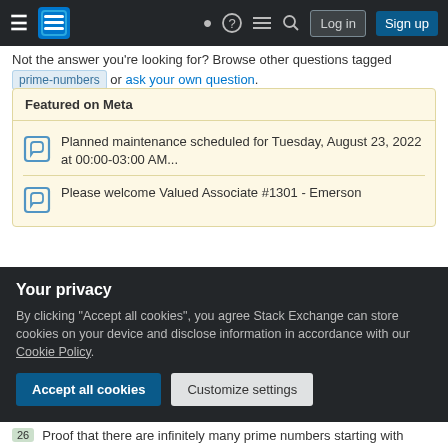Stack Exchange navigation bar with hamburger menu, logo, help, chat, search, Log in, Sign up
Not the answer you're looking for? Browse other questions tagged prime-numbers or ask your own question.
Featured on Meta
Planned maintenance scheduled for Tuesday, August 23, 2022 at 00:00-03:00 AM...
Please welcome Valued Associate #1301 - Emerson
Linked
2  Why does a change of base preserve addition and
Your privacy
By clicking "Accept all cookies", you agree Stack Exchange can store cookies on your device and disclose information in accordance with our Cookie Policy.
Accept all cookies  Customize settings
26  Proof that there are infinitely many prime numbers starting with